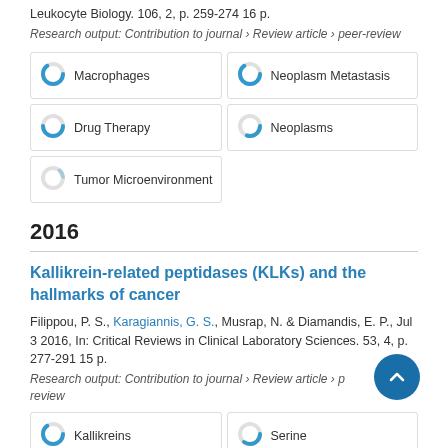Leukocyte Biology. 106, 2, p. 259-274 16 p.
Research output: Contribution to journal › Review article › peer-review
[Figure (infographic): Five keyword badges with donut-style percentage icons: Macrophages, Neoplasm Metastasis, Drug Therapy, Neoplasms, Tumor Microenvironment]
2016
Kallikrein-related peptidases (KLKs) and the hallmarks of cancer
Filippou, P. S., Karagiannis, G. S., Musrap, N. & Diamandis, E. P., Jul 3 2016, In: Critical Reviews in Clinical Laboratory Sciences. 53, 4, p. 277-291 15 p.
Research output: Contribution to journal › Review article › peer-review
[Figure (infographic): Two keyword badges visible at bottom: Kallikreins and Serine]